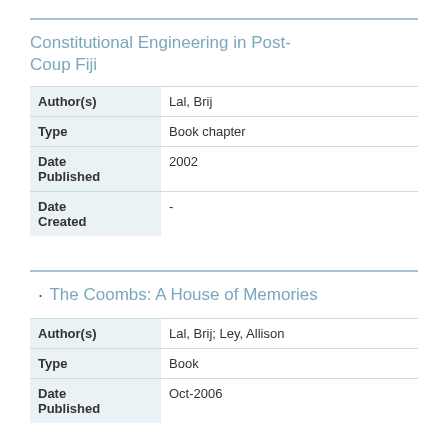Constitutional Engineering in Post-Coup Fiji
| Field | Value |
| --- | --- |
| Author(s) | Lal, Brij |
| Type | Book chapter |
| Date Published | 2002 |
| Date Created | - |
· The Coombs: A House of Memories
| Field | Value |
| --- | --- |
| Author(s) | Lal, Brij; Ley, Allison |
| Type | Book |
| Date Published | Oct-2006 |